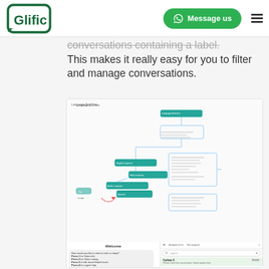Glific | Message us
conversations containing a label. This makes it really easy for you to filter and manage conversations.
[Figure (screenshot): Screenshot of Glific chatbot flow builder showing a conversation flow diagram at the top with multiple connected nodes/steps, and below it a split view showing a WhatsApp-style chat on the left with welcome message and menu options, and a conversation list panel on the right with a label filter applied.]